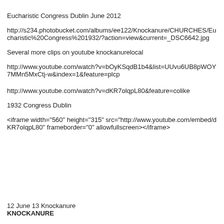Eucharistic Congress Dublin June 2012
http://s234.photobucket.com/albums/ee122/Knockanure/CHURCHES/Eucharistic%20Congress%201932/?action=view&current=_DSC6642.jpg
Several more clips on youtube knockanurelocal
http://www.youtube.com/watch?v=bOyKSqdB1b4&list=UUvu6UB8pWOY7MMn5MxCtj-w&index=1&feature=plcp
http://www.youtube.com/watch?v=dKR7olqpL80&feature=colike
1932 Congress Dublin
<iframe width="560" height="315" src="http://www.youtube.com/embed/dKR7olqpL80" frameborder="0" allowfullscreen></iframe>
12 June 13 Knockanure
KNOCKANURE